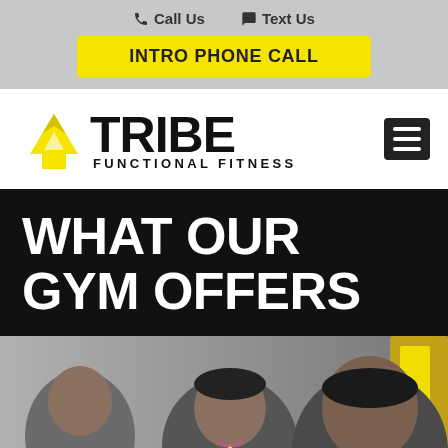📞 Call Us  💬 Text Us
INTRO PHONE CALL
[Figure (logo): Tribe Functional Fitness logo with yellow Y-shaped emblem, bold black TRIBE text and hamburger menu icon]
WHAT OUR GYM OFFERS
[Figure (photo): Photo of people in a gym setting, showing a Tribe Functional Fitness trainer and members, with yellow Y logo on shirt]